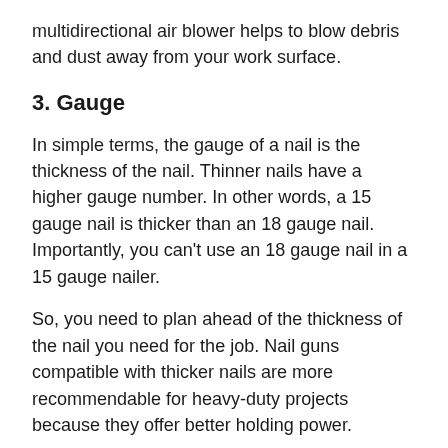multidirectional air blower helps to blow debris and dust away from your work surface.
3. Gauge
In simple terms, the gauge of a nail is the thickness of the nail. Thinner nails have a higher gauge number. In other words, a 15 gauge nail is thicker than an 18 gauge nail. Importantly, you can't use an 18 gauge nail in a 15 gauge nailer.
So, you need to plan ahead of the thickness of the nail you need for the job. Nail guns compatible with thicker nails are more recommendable for heavy-duty projects because they offer better holding power.